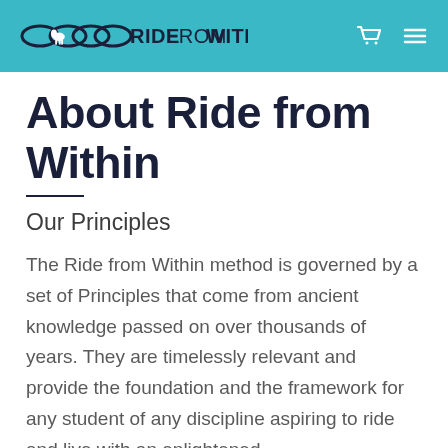RIDE FROM WITHIN
About Ride from Within
Our Principles
The Ride from Within method is governed by a set of Principles that come from ancient knowledge passed on over thousands of years. They are timelessly relevant and provide the foundation and the framework for any student of any discipline aspiring to ride and live with an enlightened